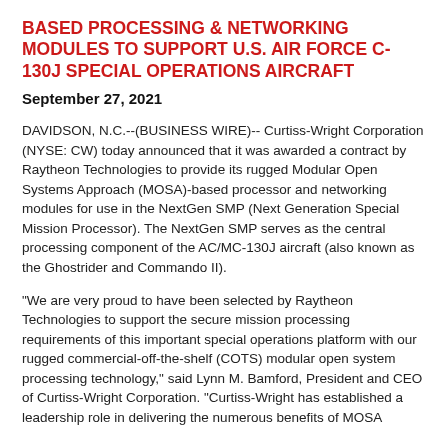BASED PROCESSING & NETWORKING MODULES TO SUPPORT U.S. AIR FORCE C-130J SPECIAL OPERATIONS AIRCRAFT
September 27, 2021
DAVIDSON, N.C.--(BUSINESS WIRE)-- Curtiss-Wright Corporation (NYSE: CW) today announced that it was awarded a contract by Raytheon Technologies to provide its rugged Modular Open Systems Approach (MOSA)-based processor and networking modules for use in the NextGen SMP (Next Generation Special Mission Processor). The NextGen SMP serves as the central processing component of the AC/MC-130J aircraft (also known as the Ghostrider and Commando II).
"We are very proud to have been selected by Raytheon Technologies to support the secure mission processing requirements of this important special operations platform with our rugged commercial-off-the-shelf (COTS) modular open system processing technology," said Lynn M. Bamford, President and CEO of Curtiss-Wright Corporation. "Curtiss-Wright has established a leadership role in delivering the numerous benefits of MOSA